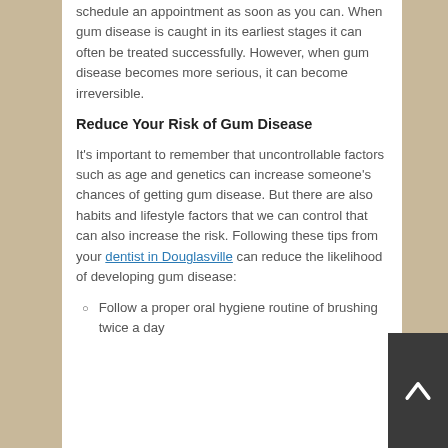schedule an appointment as soon as you can. When gum disease is caught in its earliest stages it can often be treated successfully. However, when gum disease becomes more serious, it can become irreversible.
Reduce Your Risk of Gum Disease
It's important to remember that uncontrollable factors such as age and genetics can increase someone's chances of getting gum disease. But there are also habits and lifestyle factors that we can control that can also increase the risk. Following these tips from your dentist in Douglasville can reduce the likelihood of developing gum disease:
Follow a proper oral hygiene routine of brushing twice a day